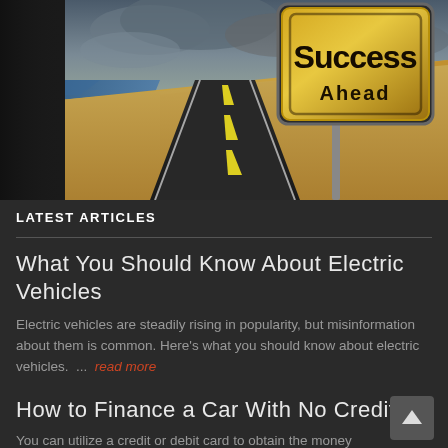[Figure (photo): A road stretching into the distance through a desert landscape with ocean on one side, dramatic cloudy sky. A gold road sign on the right reads 'Success Ahead' in bold black text.]
LATEST ARTICLES
What You Should Know About Electric Vehicles
Electric vehicles are steadily rising in popularity, but misinformation about them is common. Here's what you should know about electric vehicles. ... read more
How to Finance a Car With No Credit
You can utilize a credit or debit card to obtain the money